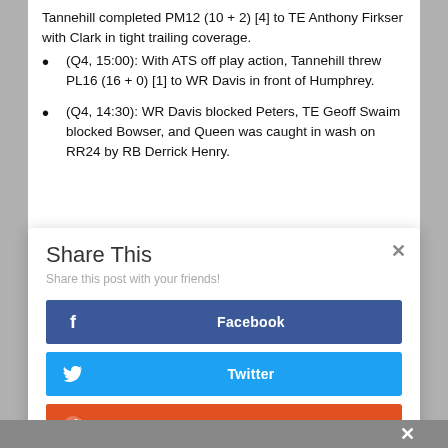Tannehill completed PM12 (10 + 2) [4] to TE Anthony Firkser with Clark in tight trailing coverage.
(Q4, 15:00): With ATS off play action, Tannehill threw PL16 (16 + 0) [1] to WR Davis in front of Humphrey.
(Q4, 14:30): WR Davis blocked Peters, TE Geoff Swaim blocked Bowser, and Queen was caught in wash on RR24 by RB Derrick Henry.
Share This
Share this post with your friends!
Facebook
Twitter
reddit